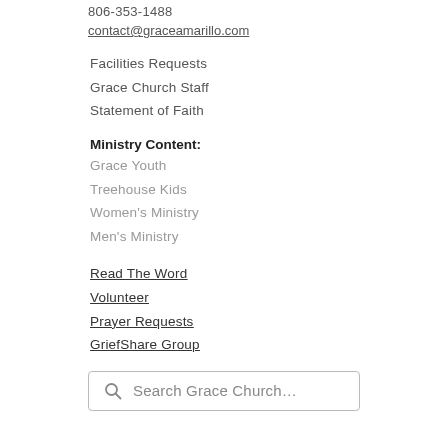806-353-1488
contact@graceamarillo.com
Facilities Requests
Grace Church Staff
Statement of Faith
Ministry Content:
Grace Youth
Treehouse Kids
Women's Ministry
Men's Ministry
Read The Word
Volunteer
Prayer Requests
GriefShare Group
Search Grace Church…